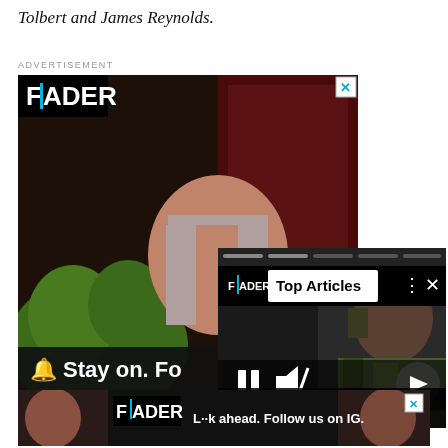Tolbert and James Reynolds.
ADVERTISEMENT
[Figure (screenshot): FADER magazine advertisement showing a young woman with gray hair holding a green stuffed bear, with 'Stay on. Fo' text overlay and FADER logo]
[Figure (screenshot): Top Articles overlay widget showing FADER logo, Top Articles label, a rapper in camouflage, play/pause and mute controls, with headline 'Nappy Roots rapper Fish Scales shot in attempted kidnapping']
[Figure (screenshot): FADER bottom advertisement showing women and text 'L..k ahead. Follow us on IG.']